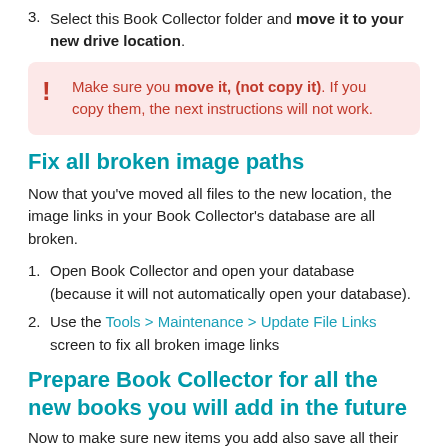3. Select this Book Collector folder and move it to your new drive location.
Make sure you move it, (not copy it). If you copy them, the next instructions will not work.
Fix all broken image paths
Now that you've moved all files to the new location, the image links in your Book Collector's database are all broken.
1. Open Book Collector and open your database (because it will not automatically open your database).
2. Use the Tools > Maintenance > Update File Links screen to fix all broken image links
Prepare Book Collector for all the new books you will add in the future
Now to make sure new items you add also save all their images in the correct folder, you have to perform these final